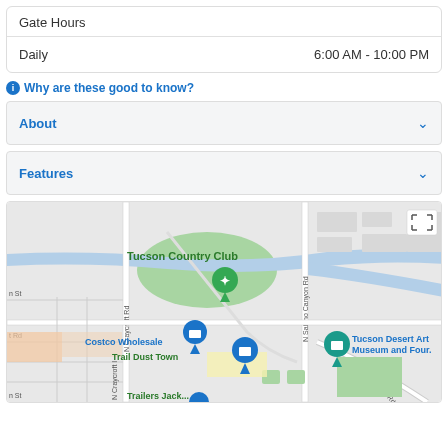| Gate Hours |  |
| --- | --- |
| Daily | 6:00 AM - 10:00 PM |
Why are these good to know?
About
Features
[Figure (map): Google Maps showing area near Tucson Country Club with markers for a storage facility, Costco Wholesale, Trail Dust Town, and Tucson Desert Art Museum and Four. Roads include N Craycroft Rd, N Sabino Canyon Rd, N Kolb Rd.]